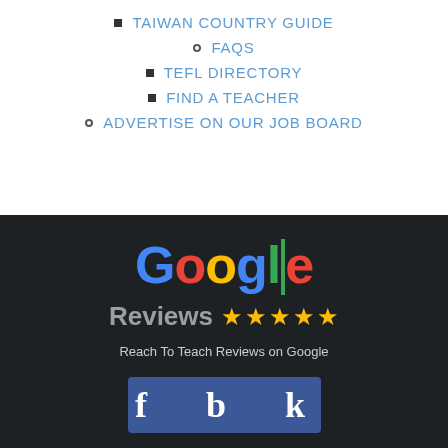TAIWAN COUNTRY GUIDE
FAQs
TEFL DIRECTORY
FIND A TEACHER
ADVERTISE ON OUR JOB BOARD
[Figure (logo): Google Reviews logo with five gold stars, text reads 'Reach To Teach Reviews on Google']
[Figure (logo): Partial Facebook logo banner in blue with white 'f' letters visible]